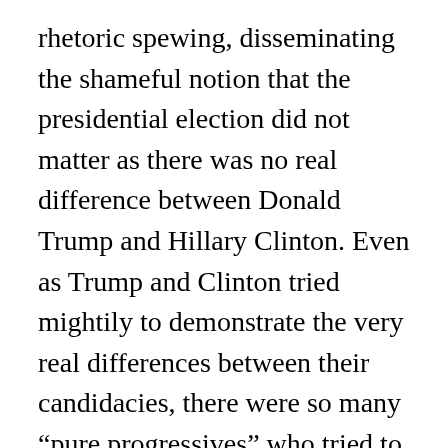rhetoric spewing, disseminating the shameful notion that the presidential election did not matter as there was no real difference between Donald Trump and Hillary Clinton. Even as Trump and Clinton tried mightily to demonstrate the very real differences between their candidacies, there were so many “pure progressives” who tried to persuade their followers (or listeners) that there was no real choice between them and that no vote, or a third party candidate protest vote, was the best course of action. And now, we are witness to the first 50 days of a 4 year seminar on why elections do matter.